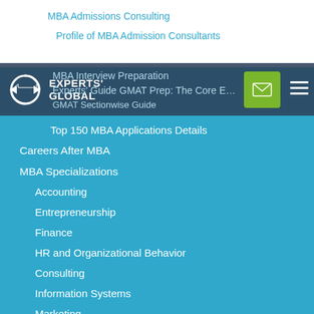MBA Admissions Consulting
Profile of MBA Admission Consultants
MBA Interview Preparation
Experts' Guide GMAT Prep: The Core Essential Approach
GMAT Sectionwise Guide
Top 150 MBA Applications Details
Careers After MBA
MBA Specializations
Accounting
Entrepreneurship
Finance
HR and Organizational Behavior
Consulting
Information Systems
Marketing
Non-profit
Operations
Strategy
Supply Chain Management
Healthcare Management
Luxury Management